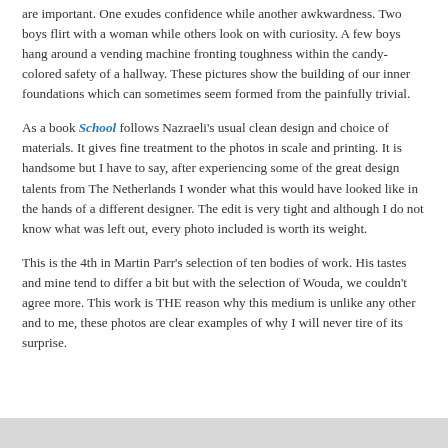are important. One exudes confidence while another awkwardness. Two boys flirt with a woman while others look on with curiosity. A few boys hang around a vending machine fronting toughness within the candy-colored safety of a hallway. These pictures show the building of our inner foundations which can sometimes seem formed from the painfully trivial.
As a book School follows Nazraeli's usual clean design and choice of materials. It gives fine treatment to the photos in scale and printing. It is handsome but I have to say, after experiencing some of the great design talents from The Netherlands I wonder what this would have looked like in the hands of a different designer. The edit is very tight and although I do not know what was left out, every photo included is worth its weight.
This is the 4th in Martin Parr's selection of ten bodies of work. His tastes and mine tend to differ a bit but with the selection of Wouda, we couldn't agree more. This work is THE reason why this medium is unlike any other and to me, these photos are clear examples of why I will never tire of its surprise.